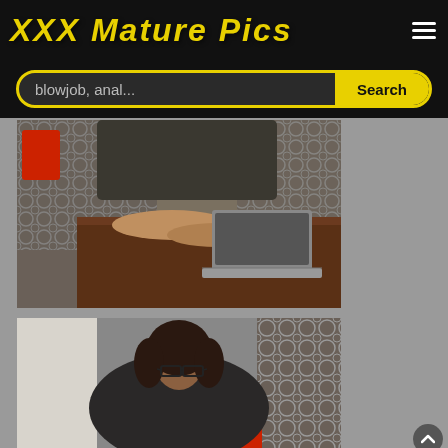XXX Mature Pics
blowjob, anal...
[Figure (photo): Person using a laptop on a dark wooden table, with a red chair and patterned wallpaper in background]
[Figure (photo): Woman with glasses and dark hair sitting in front of patterned wallpaper, wearing dark clothing]
© Copyright. XXX-MaturePics.com 2022 | Upload | DMCA | 2257